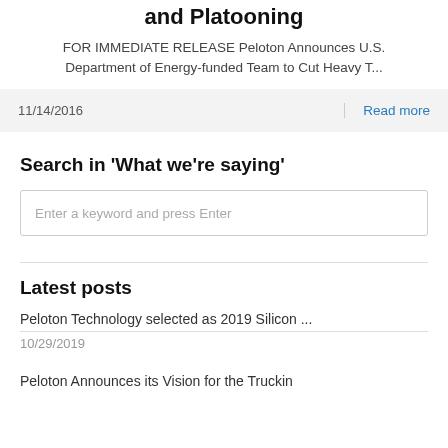and Platooning
FOR IMMEDIATE RELEASE Peloton Announces U.S. Department of Energy-funded Team to Cut Heavy T...
11/14/2016
Read more
Search in 'What we're saying'
Enter a keyword and press Enter
Latest posts
Peloton Technology selected as 2019 Silicon ...
10/29/2019
Peloton Announces its Vision for the Truckin